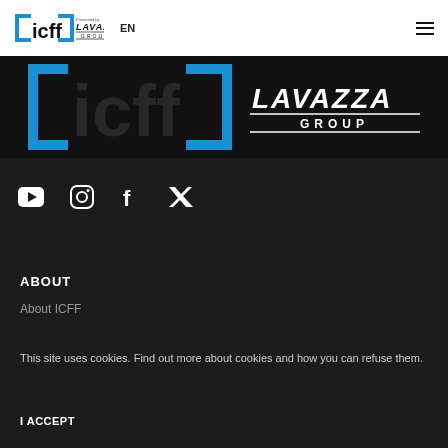[icff] Presented by LAVAZZA GROUP  EN  ≡
[Figure (logo): ICFF presented by Lavazza Group logo banner on black background with blue bracket elements]
[Figure (infographic): Social media icons row: YouTube, Instagram, Facebook, Twitter in white on dark background]
ABOUT
About ICFF
This site uses cookies. Find out more about cookies and how you can refuse them.
I ACCEPT